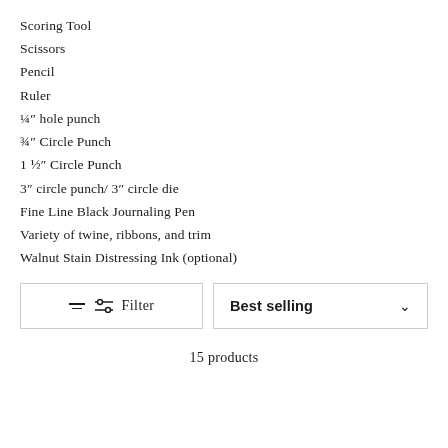Scoring Tool
Scissors
Pencil
Ruler
¼″ hole punch
¾″ Circle Punch
1 ½″ Circle Punch
3″ circle punch/ 3″ circle die
Fine Line Black Journaling Pen
Variety of twine, ribbons, and trim
Walnut Stain Distressing Ink (optional)
Filter
Best selling
15 products